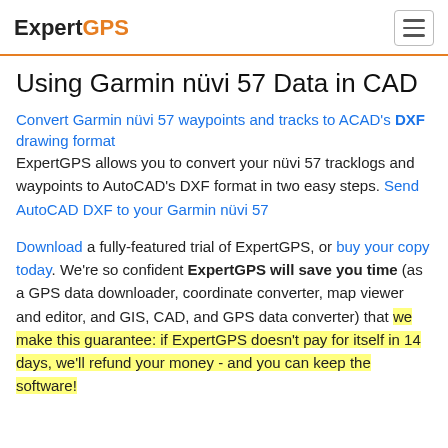ExpertGPS
Using Garmin nüvi 57 Data in CAD
Convert Garmin nüvi 57 waypoints and tracks to ACAD's DXF drawing format
ExpertGPS allows you to convert your nüvi 57 tracklogs and waypoints to AutoCAD's DXF format in two easy steps. Send AutoCAD DXF to your Garmin nüvi 57
Download a fully-featured trial of ExpertGPS, or buy your copy today. We're so confident ExpertGPS will save you time (as a GPS data downloader, coordinate converter, map viewer and editor, and GIS, CAD, and GPS data converter) that we make this guarantee: if ExpertGPS doesn't pay for itself in 14 days, we'll refund your money - and you can keep the software!